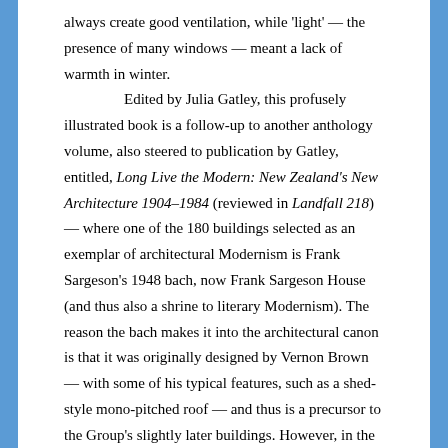always create good ventilation, while 'light' — the presence of many windows — meant a lack of warmth in winter.

Edited by Julia Gatley, this profusely illustrated book is a follow-up to another anthology volume, also steered to publication by Gatley, entitled, Long Live the Modern: New Zealand's New Architecture 1904–1984 (reviewed in Landfall 218) — where one of the 180 buildings selected as an exemplar of architectural Modernism is Frank Sargeson's 1948 bach, now Frank Sargeson House (and thus also a shrine to literary Modernism). The reason the bach makes it into the architectural canon is that it was originally designed by Vernon Brown — with some of his typical features, such as a shed-style mono-pitched roof — and thus is a precursor to the Group's slightly later buildings. However, in the end it was adapted to incorporate the cheaper building materials that were all Sargeson could afford.

As essayists Gatley, Bill McKay and Christine